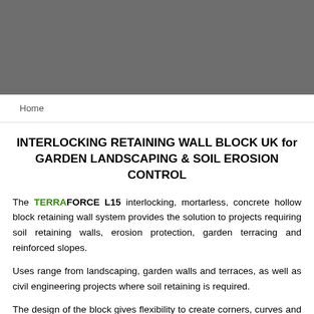[Figure (other): Grey header banner at top of page]
Home
INTERLOCKING RETAINING WALL BLOCK UK for GARDEN LANDSCAPING & SOIL EROSION CONTROL
The TERRAFORCE L15 interlocking, mortarless, concrete hollow block retaining wall system provides the solution to projects requiring soil retaining walls, erosion protection, garden terracing and reinforced slopes.
Uses range from landscaping, garden walls and terraces, as well as civil engineering projects where soil retaining is required.
The design of the block gives flexibility to create corners, curves and a creative design. Each block provides the option of round smooth face, or flat rock face surface. The block is aesthetically pleasing and